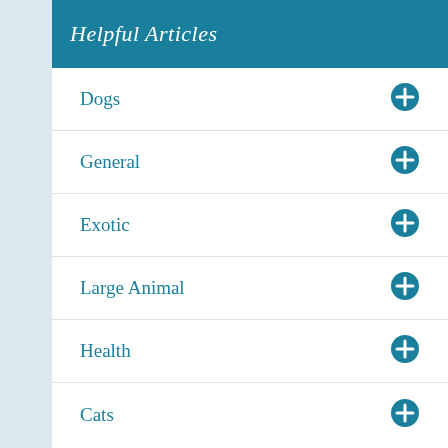Helpful Articles
Dogs
General
Exotic
Large Animal
Health
Cats